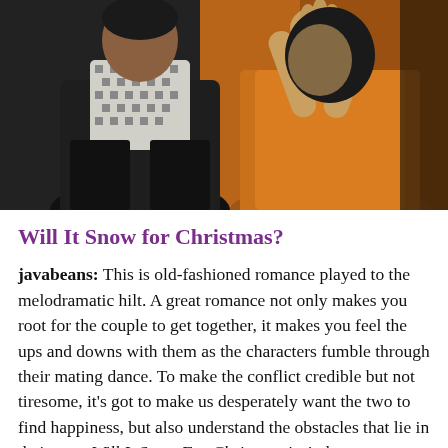[Figure (photo): Two people: a man on the left wearing a black houndstooth scarf and dark jacket, and a woman on the right wearing an orange dress with her hands raised together near her face, appearing to pray or cover her face.]
Will It Snow for Christmas?
javabeans: This is old-fashioned romance played to the melodramatic hilt. A great romance not only makes you root for the couple to get together, it makes you feel the ups and downs with them as the characters fumble through their mating dance. To make the conflict credible but not tiresome, it's got to make us desperately want the two to find happiness, but also understand the obstacles that lie in their way. Will It Snow For Christmas isn't the most original drama ever, but as a romance it makes